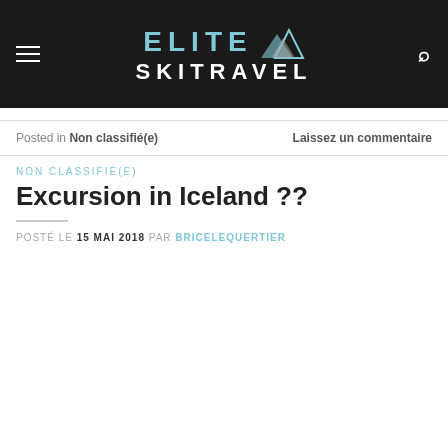[Figure (logo): Elite Ski Travel logo with mountain icon on dark background, with hamburger menu icon on left and search icon on right]
Posted in Non classifié(e)    Laissez un commentaire
NON CLASSIFIÉ(E)
Excursion in Iceland ??
POSTÉ LE 15 MAI 2018 PAR BRICELEQUERTIER
[Figure (photo): Outdoor photo of a helicopter silhouette against a sunset sky with people raising arms in celebration, mountains in background]